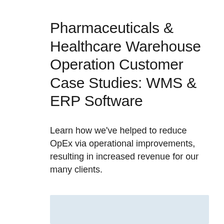Pharmaceuticals & Healthcare Warehouse Operation Customer Case Studies: WMS & ERP Software
Learn how we've helped to reduce OpEx via operational improvements, resulting in increased revenue for our many clients.
[Figure (other): Light blue/grey rectangular image block, partially visible at bottom of page]